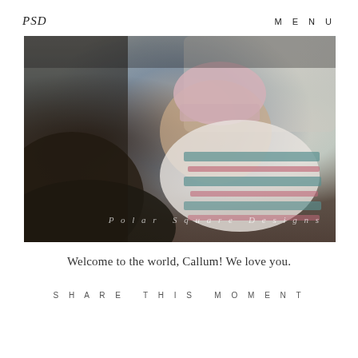PSD    MENU
[Figure (photo): A newborn baby wearing a pink striped hat, wrapped in a white and teal striped blanket, being held by an adult. The photo has a watermark reading 'Polar Square Designs'.]
Welcome to the world, Callum! We love you.
SHARE THIS MOMENT